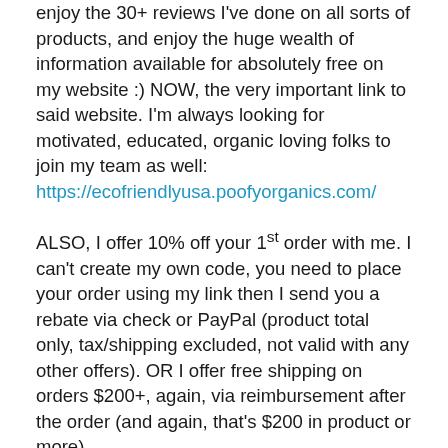enjoy the 30+ reviews I've done on all sorts of products, and enjoy the huge wealth of information available for absolutely free on my website :)​ NOW, the very important link to said website. I'm always looking for motivated, educated, organic loving folks to join my team as well: https://ecofriendlyusa.poofyorganics.com/
ALSO, I offer 10% off your 1st order with me. I can't create my own code, you need to place your order using my link then I send you a rebate via check or PayPal (product total only, tax/shipping excluded, not valid with any other offers). OR I offer free shipping on orders $200+, again, via reimbursement after the order (and again, that's $200 in product or more).
Questions & comments are always welcome!! Super awesome feedback regarding my decision here,